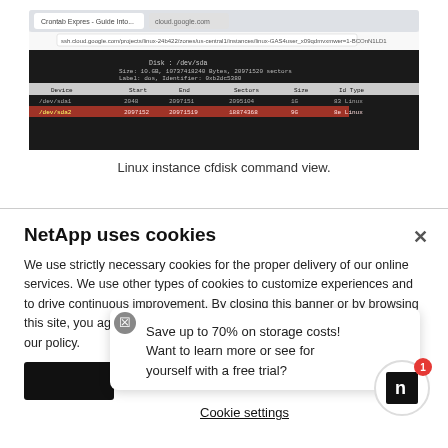[Figure (screenshot): Browser window showing Linux instance cfdisk command output — a dark terminal-like table displaying disk partition information with columns for Device, Start, End, Sectors, Size, Id Type. One row is highlighted in red/orange.]
Linux instance cfdisk command view.
NetApp uses cookies
We use strictly necessary cookies for the proper delivery of our online services. We use other types of cookies to customize experiences and to drive continuous improvement. By closing this banner or by browsing this site, you agree and accept the use of cookies in accordance with our policy.
Save up to 70% on storage costs! Want to learn more or see for yourself with a free trial?
Cookie settings